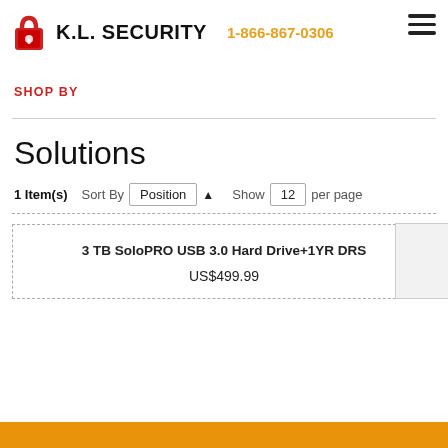K.L. SECURITY   1-866-867-0306
SHOP BY
Solutions
1 Item(s)   Sort By Position ▲   Show 12 per page
3 TB SoloPRO USB 3.0 Hard Drive+1YR DRS
US$499.99